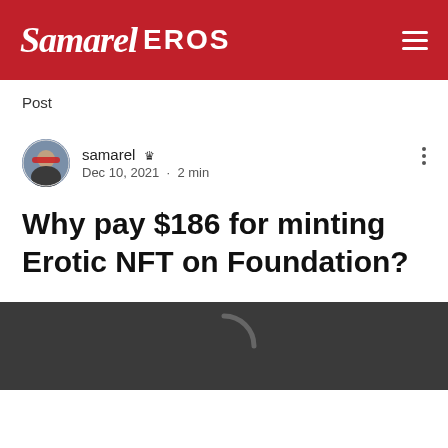Samarel EROS
Post
samarel  Dec 10, 2021 · 2 min
Why pay $186 for minting Erotic NFT on Foundation?
[Figure (photo): Dark gray loading placeholder image with a circular arc loading spinner]